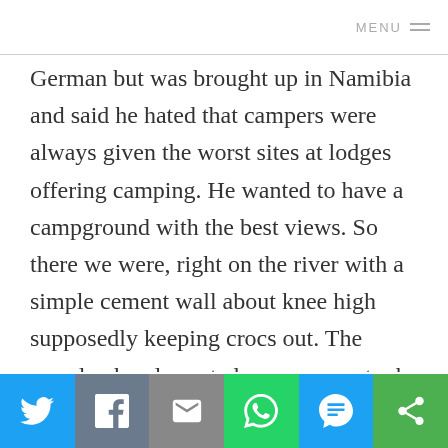MENU
German but was brought up in Namibia and said he hated that campers were always given the worst sites at lodges offering camping. He wanted to have a campground with the best views. So there we were, right on the river with a simple cement wall about knee high supposedly keeping crocs out. The guard, who also acted as manager, took us on a sunset boat ride which was peaceful and scenic. We thought we'd see lots of birds, and did see a few, but that definitely wasn't the highlight of the cruise. It was nice to be floating out there watching the sun go down, as close to Angola as we're likely to get. The border is in the middle